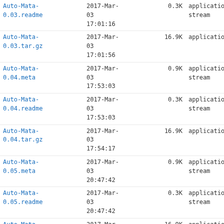| Filename | Date | Size | Type |
| --- | --- | --- | --- |
| Auto-Mata-0.03.readme | 2017-Mar-03 17:01:16 | 0.3K | application/octet-stream |
| Auto-Mata-0.03.tar.gz | 2017-Mar-03 17:01:56 | 16.9K | application/gzip |
| Auto-Mata-0.04.meta | 2017-Mar-03 17:53:03 | 0.9K | application/octet-stream |
| Auto-Mata-0.04.readme | 2017-Mar-03 17:53:03 | 0.3K | application/octet-stream |
| Auto-Mata-0.04.tar.gz | 2017-Mar-03 17:54:17 | 16.9K | application/gzip |
| Auto-Mata-0.05.meta | 2017-Mar-03 20:47:42 | 0.9K | application/octet-stream |
| Auto-Mata-0.05.readme | 2017-Mar-03 20:47:42 | 0.3K | application/octet-stream |
| Auto-Mata-0.05.tar.gz | 2017-Mar-03 20:48:38 | 16.9K | application/gzip |
| Auto-Mata-0.06.meta | 2017-Mar-06 19:46:01 | 0.9K | application/octet-stream |
| Auto-Mata-0.06.readme | 2017-Mar-06 19:46:01 | 0.3K | application/octet-stream |
| Auto-Mata-0.06.tar.gz | 2017-Mar-06 19:46:37 | 17.0K | application/gzip |